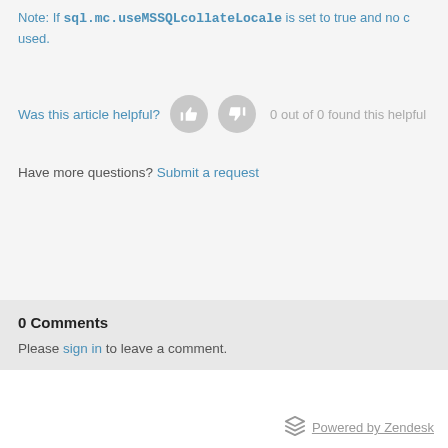Note: If sql.mc.useMSSQLcollateLocale is set to true and no c... used.
Was this article helpful?  0 out of 0 found this helpful
Have more questions? Submit a request
0 Comments
Please sign in to leave a comment.
Powered by Zendesk